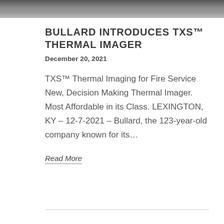[Figure (photo): Grayscale photograph at the top of the page, dark and smoky tones]
BULLARD INTRODUCES TXS™ THERMAL IMAGER
December 20, 2021
TXS™ Thermal Imaging for Fire Service New, Decision Making Thermal Imager. Most Affordable in its Class. LEXINGTON, KY – 12-7-2021 – Bullard, the 123-year-old company known for its…
Read More